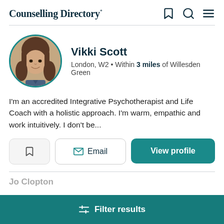Counselling Directory*
[Figure (photo): Circular profile photo of Vikki Scott, a woman with dark hair, smiling, with teal border]
Vikki Scott
London, W2 • Within 3 miles of Willesden Green
I'm an accredited Integrative Psychotherapist and Life Coach with a holistic approach. I'm warm, empathic and work intuitively. I don't be...
Email
View profile
Filter results